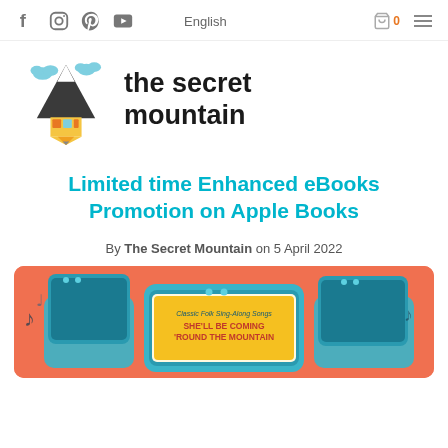Social icons: Facebook, Instagram, Pinterest, YouTube | English | Cart 0 | Menu
[Figure (logo): The Secret Mountain logo: pencil/mountain illustration with clouds, with text 'the secret mountain' in bold black sans-serif]
Limited time Enhanced eBooks Promotion on Apple Books
By The Secret Mountain on 5 April 2022
[Figure (illustration): Promotional image with coral/orange background showing tablet devices displaying 'She'll Be Coming Round the Mountain' book cover with music notes]